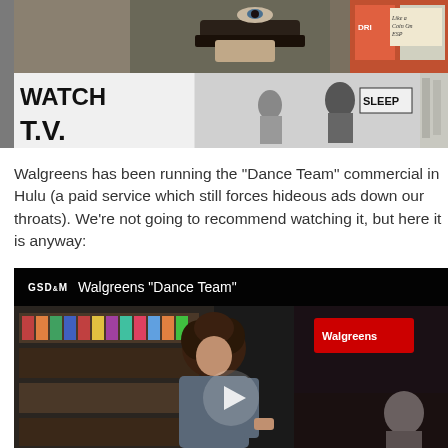[Figure (photo): Collage of movie/TV still images including a person looking over sunglasses, a black and white TV store scene with 'WATCH T.V.' sign and 'SLEEP' sign, and other scenes]
Walgreens has been running the “Dance Team” commercial in Hulu (a paid service which still forces hideous ads down our throats). We’re not going to recommend watching it, but here it is anyway:
[Figure (screenshot): Video embed thumbnail showing GSD&M Walgreens 'Dance Team' with a woman browsing products in a Walgreens store aisle, with a play button overlay]